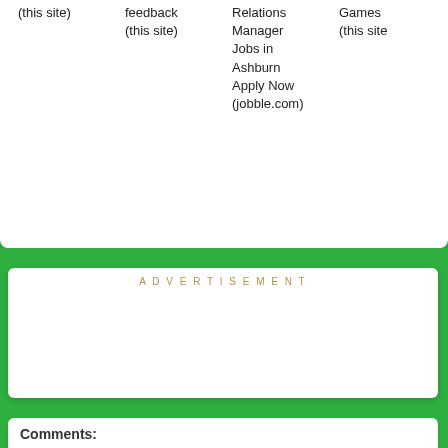(this site)
feedback
(this site)
Relations Manager
Jobs in Ashburn
Apply Now
(jobble.com)
Games
(this site)
ADVERTISEMENT
Comments: